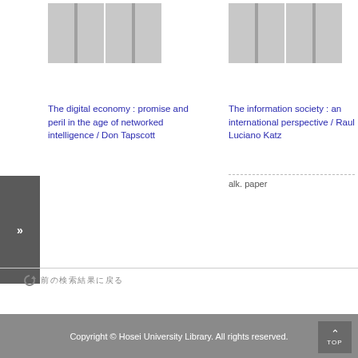[Figure (illustration): Book cover placeholder image (grey rectangle with spine line) for 'The digital economy']
The digital economy : promise and peril in the age of networked intelligence / Don Tapscott
[Figure (illustration): Book cover placeholder image (grey rectangle with spine line) for 'The information society']
The information society : an international perspective / Raul Luciano Katz
alk. paper
»
前の検索結果に戻る
Copyright © Hosei University Library. All rights reserved.